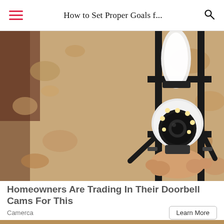How to Set Proper Goals f...
[Figure (photo): Close-up photo of a security camera being installed in an outdoor wall lantern fixture mounted on a textured stucco wall. A hand holds a white dome security camera with visible LED ring being placed inside a black metal lantern frame.]
Homeowners Are Trading In Their Doorbell Cams For This
Camerca
Learn More
[Figure (photo): Partial view of a light bulb at the bottom of the page, showing threaded metal base on a warm tan background.]